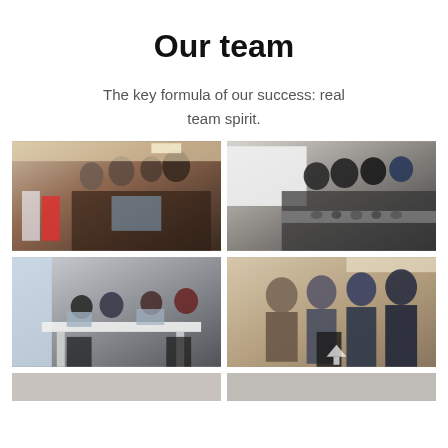Our team
The key formula of our success: real team spirit.
[Figure (photo): Team members gathered around a laptop in a conference room with Azerbaijani flags visible]
[Figure (photo): Group of people in dark clothing examining equipment on a table, whiteboard in background]
[Figure (photo): Several people working at laptops around a white table in an office]
[Figure (photo): Four people standing together in a modern office setting]
[Figure (photo): Partial view of additional team photos at bottom of page]